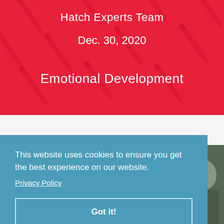Hatch Experts Team
Dec. 30, 2020
Emotional Development
This website uses cookies to ensure you get the best experience on our website.
Privacy Policy
Got it!
[Figure (photo): Partial view of a person in outdoor setting, visible on the right edge of the page]